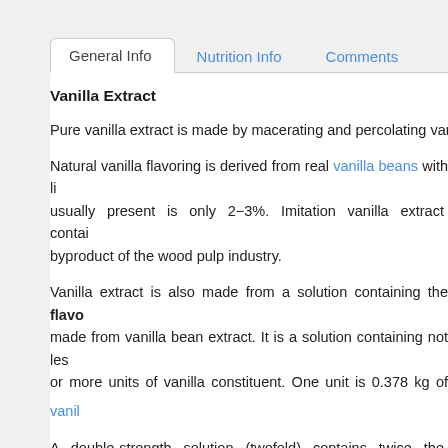General Info | Nutrition Info | Comments
Vanilla Extract
Pure vanilla extract is made by macerating and percolating vanil…
Natural vanilla flavoring is derived from real vanilla beans with li… usually present is only 2–3%. Imitation vanilla extract contai… byproduct of the wood pulp industry.
Vanilla extract is also made from a solution containing the flavo… made from vanilla bean extract. It is a solution containing not les… or more units of vanilla constituent. One unit is 0.378 kg of vanill…
A double-strength solution (twofold) contains twice the quan… beverages.
See also Vanilla essence & Vanilla Sugar
Uses of Vanilla Extract: